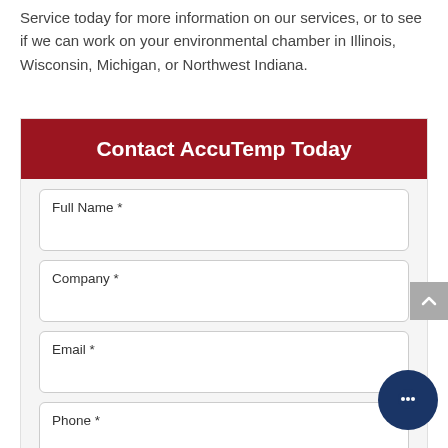Service today for more information on our services, or to see if we can work on your environmental chamber in Illinois, Wisconsin, Michigan, or Northwest Indiana.
Contact AccuTemp Today
Full Name *
Company *
Email *
Phone *
Current/New/Past Customer or Partner/Vendor *